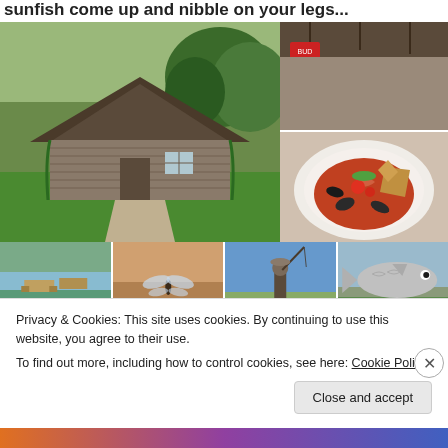sunfish come up and nibble on your legs...
[Figure (photo): Grid of travel/food photos: large log cabin on green lawn with trees; top-right: outdoor bar/restaurant patio; bottom-right: seafood soup bowl with mussels and toast; bottom row thumbnails: lakeside picnic tables, close-up of sand/dragonfly, person fishing, large fish sculpture]
Privacy & Cookies: This site uses cookies. By continuing to use this website, you agree to their use.
To find out more, including how to control cookies, see here: Cookie Policy
Close and accept